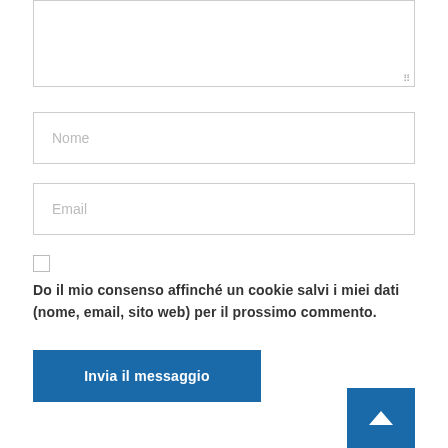[Figure (screenshot): Empty textarea input box with resize handle indicator at bottom right]
Nome
Email
Do il mio consenso affinché un cookie salvi i miei dati (nome, email, sito web) per il prossimo commento.
Invia il messaggio